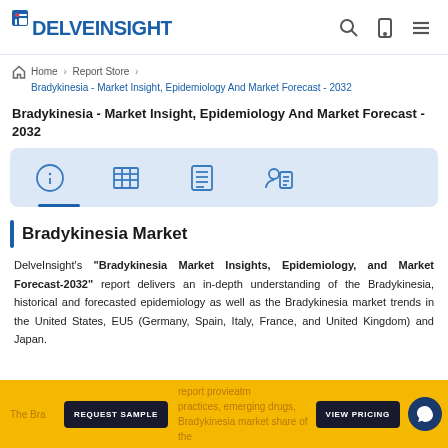DelveInsight - header with logo and navigation icons
Home › Report Store › Bradykinesia - Market Insight, Epidemiology And Market Forecast - 2032
Bradykinesia - Market Insight, Epidemiology And Market Forecast - 2032
[Figure (infographic): Tab icon bar with four icons: info, table/grid, list/checklist, and analyst report person, with blue underline under first icon]
Bradykinesia Market
DelveInsight's "Bradykinesia Market Insights, Epidemiology, and Market Forecast-2032" report delivers an in-depth understanding of the Bradykinesia, historical and forecasted epidemiology as well as the Bradykinesia market trends in the United States, EU5 (Germany, Spain, Italy, France, and United Kingdom) and Japan.
The Bradykinesia report provides treatment practices, emerging drugs, Bradykinesia market share of the